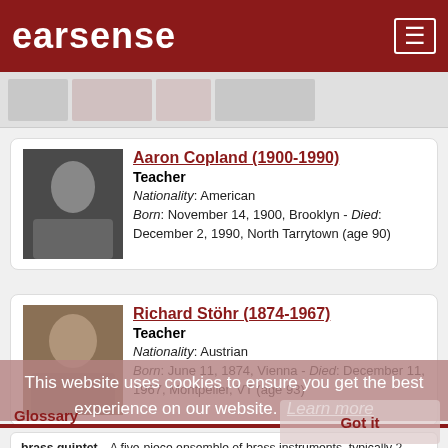earsense
[Figure (photo): Gray strip with thumbnail images at top of page]
Aaron Copland (1900-1990)
Teacher
Nationality: American
Born: November 14, 1900, Brooklyn - Died: December 2, 1990, North Tarrytown (age 90)
Richard Stöhr (1874-1967)
Teacher
Nationality: Austrian
Born: June 11, 1874, Vienna - Died: December 11, 1967, Montpelier, VT (age 93)
Glossary
This website uses cookies to ensure you get the best experience on our website. Learn more
brass quintet—A five-piece ensemble of brass instruments, typically 2 trumpets (or cornets), horn, trombone and tuba (or bass trombone).
chamber music, Kammermusik [G], musique de chambre [F], musica da camera [I], musica cameralis [L]—"Classical Music" for a small ensemble, generally 8 or fewer players with a canonical emphasis on 3-6 players. explore